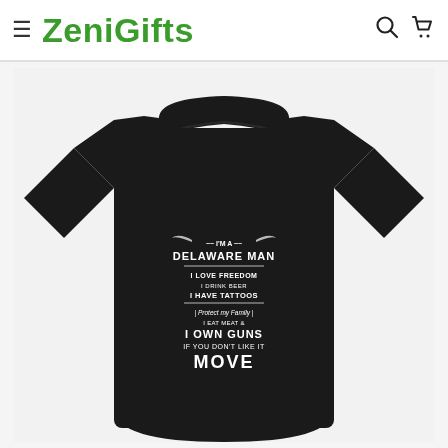≡ ZeniGifts 🔍 🛒
[Figure (photo): Black t-shirt with graphic text reading: I'M A DELAWARE MAN. I LOVE FREEDOM I DRINK BEER I HAVE TATTOOS I Protect my Family I EAT MEAT & I OWN GUNS IF YOU DON'T LIKE IT MOVE. Displayed on white/light grey background on ZeniGifts e-commerce product page.]